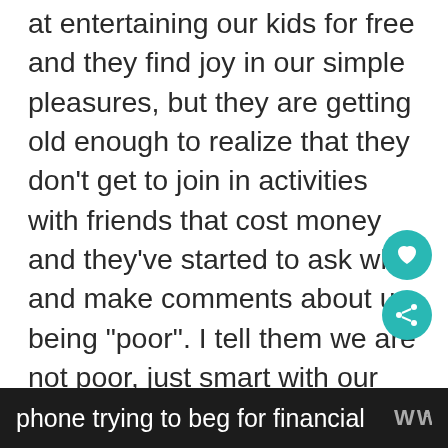at entertaining our kids for free and they find joy in our simple pleasures, but they are getting old enough to realize that they don't get to join in activities with friends that cost money and they've started to ask why and make comments about us being "poor". I tell them we are not poor, just smart with our money. But I know they see it in my eyes, they see me dry the tears every time I pay bills, they hear my panic and pleas when I'm on the
phone trying to beg for financial